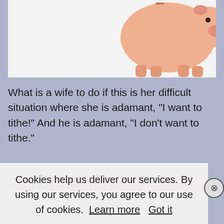[Figure (photo): Piggy bank photo against white background, partially visible at top of page]
What is a wife to do if this is her difficult situation where she is adamant, “I want to tithe!” And he is adamant, “I don’t want to tithe.”
NOTE – I am speaking about a hypothetical
Cookies help us deliver our services. By using our services, you agree to our use of cookies.  Learn more  Got it